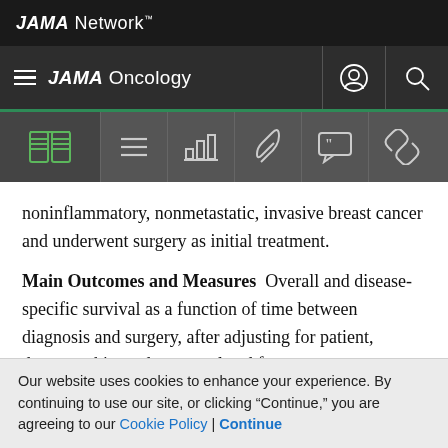JAMA Network
JAMA Oncology
[Figure (screenshot): Toolbar with icons: book/reading, menu/list, bar chart, paperclip, quote, link]
noninflammatory, nonmetastatic, invasive breast cancer and underwent surgery as initial treatment.
Main Outcomes and Measures  Overall and disease-specific survival as a function of time between diagnosis and surgery, after adjusting for patient, demographic, and tumor-related factors.
Results  The SEER-Medicare cohort had 94 544 patients
Our website uses cookies to enhance your experience. By continuing to use our site, or clicking "Continue," you are agreeing to our Cookie Policy | Continue